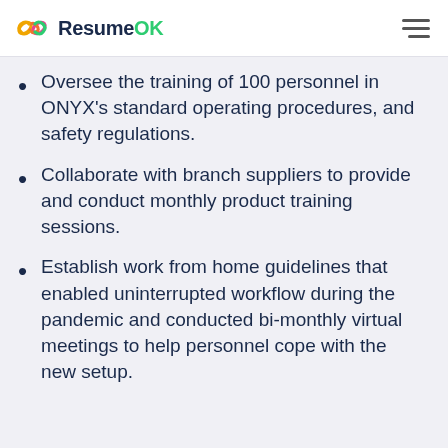ResumeOK
Oversee the training of 100 personnel in ONYX’s standard operating procedures, and safety regulations.
Collaborate with branch suppliers to provide and conduct monthly product training sessions.
Establish work from home guidelines that enabled uninterrupted workflow during the pandemic and conducted bi-monthly virtual meetings to help personnel cope with the new setup.